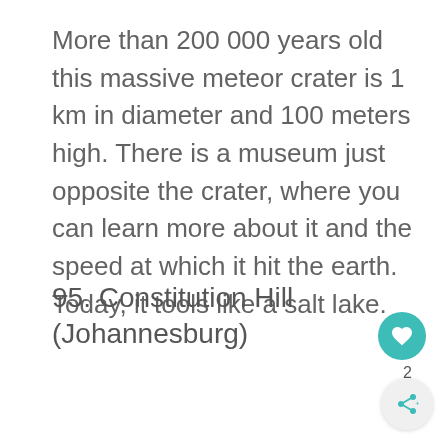More than 200 000 years old this massive meteor crater is 1 km in diameter and 100 meters high. There is a museum just opposite the crater, where you can learn more about it and the speed at which it hit the earth. Today, it tools like a salt lake.
95. Constitution Hill (Johannesburg)